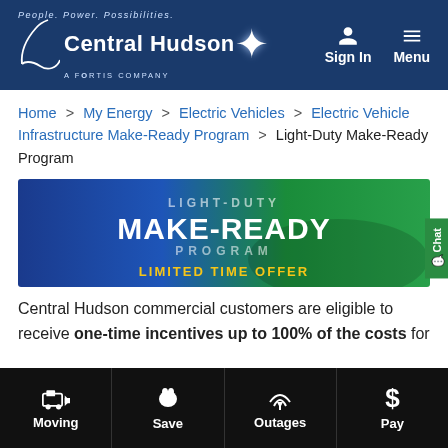Central Hudson Gas & Electric — A Fortis Company | Sign In | Menu
Home > My Energy > Electric Vehicles > Electric Vehicle Infrastructure Make-Ready Program > Light-Duty Make-Ready Program
[Figure (illustration): Light-Duty Make-Ready Program banner with blue-to-green gradient background, text: LIGHT-DUTY MAKE-READY PROGRAM, LIMITED TIME OFFER]
Central Hudson commercial customers are eligible to receive one-time incentives up to 100% of the costs for
Moving | Save | Outages | Pay